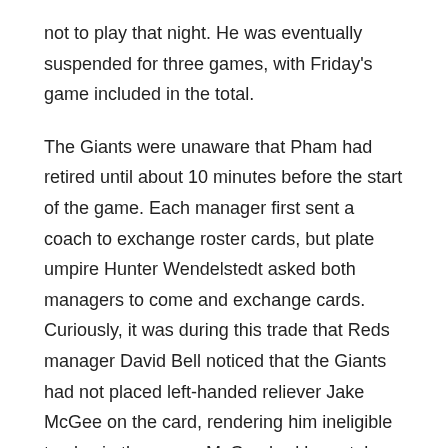not to play that night. He was eventually suspended for three games, with Friday's game included in the total.
The Giants were unaware that Pham had retired until about 10 minutes before the start of the game. Each manager first sent a coach to exchange roster cards, but plate umpire Hunter Wendelstedt asked both managers to come and exchange cards. Curiously, it was during this trade that Reds manager David Bell noticed that the Giants had not placed left-handed reliever Jake McGee on the card, rendering him ineligible to play in the game; McGee had been taken off the injured list before the game. When the Giants called McGee to start the eighth, Bell pointed to McGee's absence from the traded roster card before the game, forcing the Giants to call José Álvarez instead with the Reds leading 3–1. Álvarez allowed two runs and the Reds won 5-1.
The next day, Pham's suspension was announced, and Pham spoke to the media about what had happened.